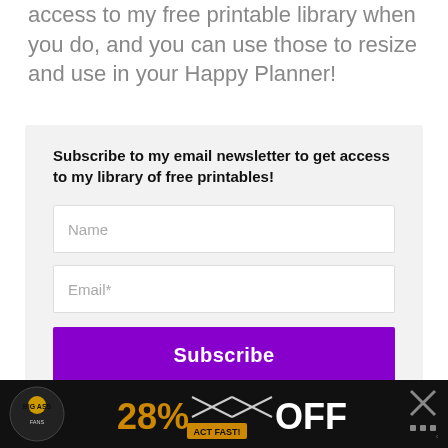access to my free printable library when you do, and you can use those to resize and use in your Happy Planner!
Subscribe to my email newsletter to get access to my library of free printables!
[Figure (screenshot): Email subscription form with Name field, Email* field, and a purple Subscribe button]
[Figure (screenshot): Advertisement banner for Big Ass Fans showing 28% OFF promotion with Act Fast CTA on black background]